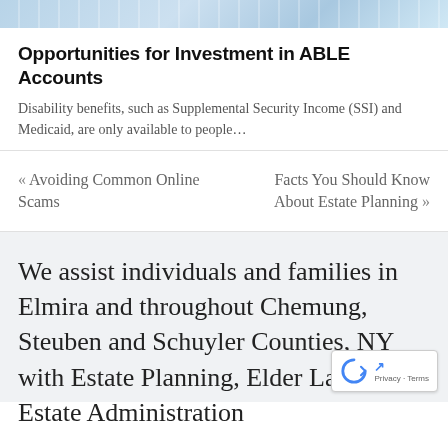[Figure (photo): Decorative header image with blue gradient/abstract background]
Opportunities for Investment in ABLE Accounts
Disability benefits, such as Supplemental Security Income (SSI) and Medicaid, are only available to people…
« Avoiding Common Online Scams
Facts You Should Know About Estate Planning »
We assist individuals and families in Elmira and throughout Chemung, Steuben and Schuyler Counties, NY with Estate Planning, Elder Law and Estate Administration